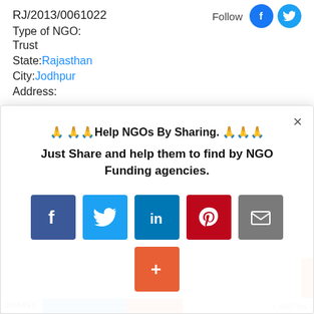RJ/2013/0061022
Follow
Type of NGO:
Trust
State: Rajasthan
City: Jodhpur
Address:
🙏 🙏🙏Help NGOs By Sharing. 🙏🙏🙏
Just Share and help them to find by NGO Funding agencies.
[Figure (infographic): Share modal with social media buttons: Facebook (dark blue), Twitter (light blue), LinkedIn (blue), Pinterest (dark red), Email (gray), Plus/More (orange-red). Close X button top right.]
AddThis